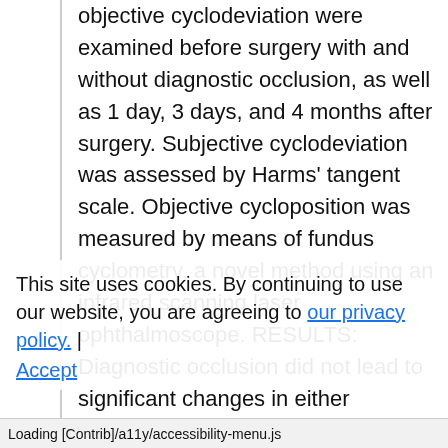objective cyclodeviation were examined before surgery with and without diagnostic occlusion, as well as 1 day, 3 days, and 4 months after surgery. Subjective cyclodeviation was assessed by Harms' tangent scale. Objective cycloposition was measured by means of fundus cyclometry, a novel method using an infrared scanning laser ophthalmoscope. RESULTS: Diagnostic occlusion did not lead to significant changes in either objective or subjective cyclodeviation. Preoperative objective excycloposition was nearly equally distributed
This site uses cookies. By continuing to use our website, you are agreeing to our privacy policy. Accept
Loading [Contrib]/a11y/accessibility-menu.js